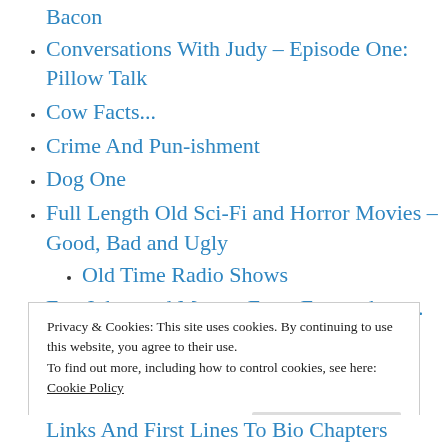Bacon
Conversations With Judy – Episode One: Pillow Talk
Cow Facts...
Crime And Pun-ishment
Dog One
Full Length Old Sci-Fi and Horror Movies – Good, Bad and Ugly
Old Time Radio Shows
Fun Jokes and Memes From Everywhere... Even My Own Brain, In A Few Cases
Privacy & Cookies: This site uses cookies. By continuing to use this website, you agree to their use.
To find out more, including how to control cookies, see here: Cookie Policy
Links And First Lines To Bio Chapters